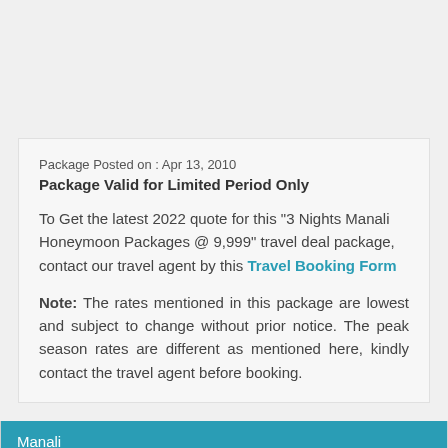Package Posted on : Apr 13, 2010
Package Valid for Limited Period Only
To Get the latest 2022 quote for this "3 Nights Manali Honeymoon Packages @ 9,999" travel deal package, contact our travel agent by this Travel Booking Form
Note: The rates mentioned in this package are lowest and subject to change without prior notice. The peak season rates are different as mentioned here, kindly contact the travel agent before booking.
| Manali |
| --- |
| Manali Packages |
| Manali Hotels |